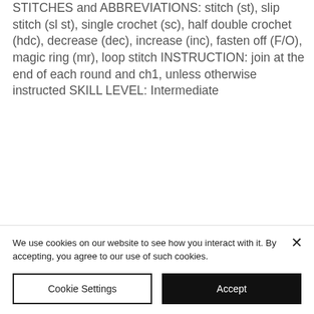STITCHES and ABBREVIATIONS: stitch (st), slip stitch (sl st), single crochet (sc), half double crochet (hdc), decrease (dec), increase (inc), fasten off (F/O), magic ring (mr), loop stitch INSTRUCTION: join at the end of each round and ch1, unless otherwise instructed SKILL LEVEL: Intermediate
We use cookies on our website to see how you interact with it. By accepting, you agree to our use of such cookies.